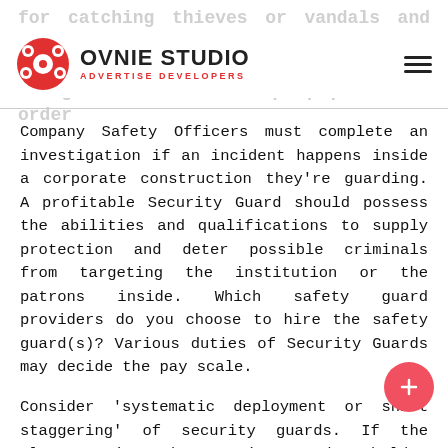OVNIE STUDIO — ADVERTISE DEVELOPERS
Company Safety Officers must complete an investigation if an incident happens inside a corporate construction they're guarding. A profitable Security Guard should possess the abilities and qualifications to supply protection and deter possible criminals from targeting the institution or the patrons inside. Which safety guard providers do you choose to hire the safety guard(s)? Various duties of Security Guards may decide the pay scale.
Consider 'systematic deployment or shift staggering' of security guards. If the place requires the security Guard to hold a firearm, they must be licensed to use it. Hiring from an unreliable or inexperienced company can only